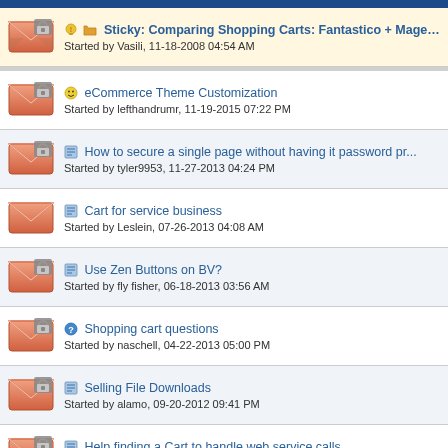Sticky: Comparing Shopping Carts: Fantastico + Magen... Started by Vasili, 11-18-2008 04:54 AM
eCommerce Theme Customization Started by lefthandrumr, 11-19-2015 07:22 PM
How to secure a single page without having it password pr... Started by tyler9953, 11-27-2013 04:24 PM
Cart for service business Started by Leslein, 07-26-2013 04:08 AM
Use Zen Buttons on BV? Started by fly fisher, 06-18-2013 03:56 AM
Shopping cart questions Started by naschell, 04-22-2013 05:00 PM
Selling File Downloads Started by alamo, 09-20-2012 09:41 PM
Help finding a Cart to handle web service calls Started by MIP, 07-20-2012 02:29 AM
Shopping cart intergration with Paypal Pro help needed Started by revron209, 07-07-2012 03:45 AM